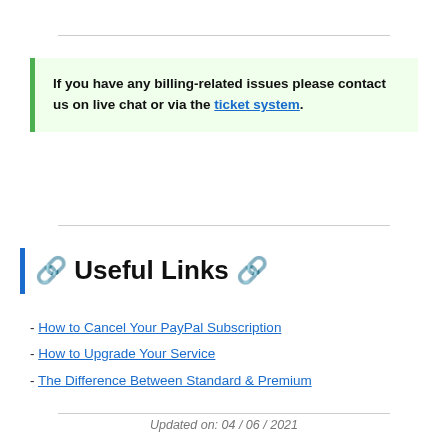If you have any billing-related issues please contact us on live chat or via the ticket system.
🔗 Useful Links 🔗
- How to Cancel Your PayPal Subscription
- How to Upgrade Your Service
- The Difference Between Standard & Premium
Updated on: 04 / 06 / 2021